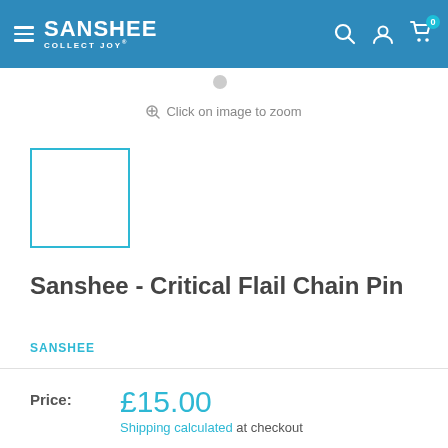SANSHEE COLLECT JOY
[Figure (screenshot): Small product thumbnail placeholder — empty white box with cyan/blue border]
Click on image to zoom
Sanshee - Critical Flail Chain Pin
SANSHEE
Price: £15.00 Shipping calculated at checkout